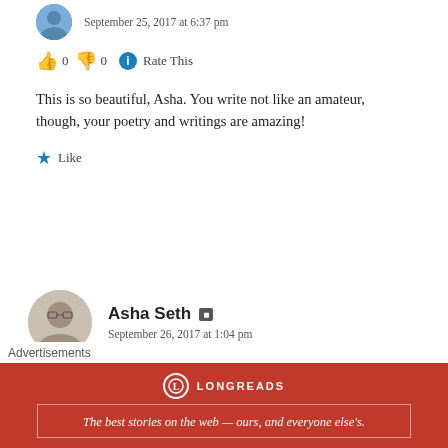[Figure (photo): Circular avatar photo of a person, partially cropped at top]
September 25, 2017 at 6:37 pm
👍 0 👎 0 ℹ Rate This
This is so beautiful, Asha. You write not like an amateur, though, your poetry and writings are amazing!
★ Like
[Figure (photo): Circular avatar photo of Asha Seth, a woman with glasses]
Asha Seth
September 26, 2017 at 1:04 pm
👍 0 👎 0 ℹ Rate This
Advertisements
[Figure (infographic): Longreads advertisement banner in red: The best stories on the web — ours, and everyone else's.]